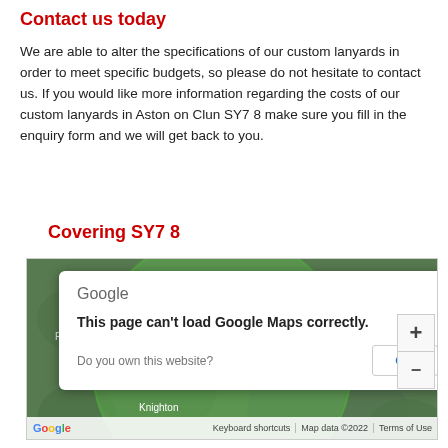Contact us today
We are able to alter the specifications of our custom lanyards in order to meet specific budgets, so please do not hesitate to contact us. If you would like more information regarding the costs of our custom lanyards in Aston on Clun SY7 8 make sure you fill in the enquiry form and we will get back to you.
Covering SY7 8
[Figure (screenshot): Google Maps embed showing area covering SY7 8 with a green circle overlay and a dialog box saying 'This page can't load Google Maps correctly.' with an OK button. Map shows Hoptonheath, Knucklas, Leintwardine, Ludlow, Knighton labels on a dark green map background with 'For development purposes only' watermark. Bottom bar shows Google logo, Keyboard shortcuts, Map data ©2022, Terms of Use.]